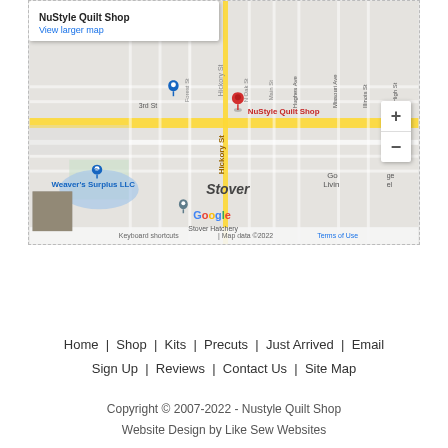[Figure (map): Google Map showing NuStyle Quilt Shop location in Stover, MO. Map shows street grid with Hickory St highlighted in yellow, and markers for NuStyle Quilt Shop (red), Weaver's Surplus LLC (blue), and Stover Hatchery (grey). Map data ©2022 Google.]
Home | Shop | Kits | Precuts | Just Arrived | Email Sign Up | Reviews | Contact Us | Site Map
Copyright © 2007-2022 - Nustyle Quilt Shop
Website Design by Like Sew Websites